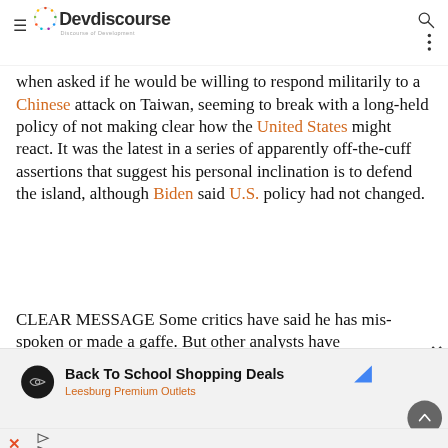Devdiscourse - Discourse of Development
when asked if he would be willing to respond militarily to a Chinese attack on Taiwan, seeming to break with a long-held policy of not making clear how the United States might react. It was the latest in a series of apparently off-the-cuff assertions that suggest his personal inclination is to defend the island, although Biden said U.S. policy had not changed.
CLEAR MESSAGE Some critics have said he has mis-spoken or made a gaffe. But other analysts have
[Figure (screenshot): Advertisement banner: Back To School Shopping Deals - Leesburg Premium Outlets with logo icon and scroll-up button]